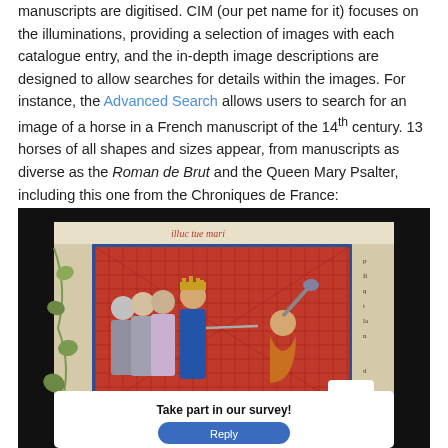manuscripts are digitised. CIM (our pet name for it) focuses on the illuminations, providing a selection of images with each catalogue entry, and the in-depth image descriptions are designed to allow searches for details within the images. For instance, the Advanced Search allows users to search for an image of a horse in a French manuscript of the 14th century. 13 horses of all shapes and sizes appear, from manuscripts as diverse as the Roman de Brut and the Queen Mary Psalter, including this one from the Chroniques de France:
[Figure (photo): A medieval manuscript illumination from the Chroniques de France showing a crowned king with attendants facing a kneeling figure, set against a red cross-hatched background with decorative ivy leaf marginalia. A survey overlay reading 'Take part in our survey!' with a blue Reply button is superimposed over the bottom portion of the image.]